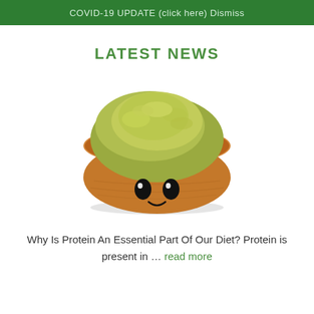COVID-19 UPDATE (click here) Dismiss
LATEST NEWS
[Figure (illustration): A wooden bowl with a cartoon smiley face (two black oval eyes and a smile) filled with green powder, on a white background]
Why Is Protein An Essential Part Of Our Diet? Protein is present in … read more